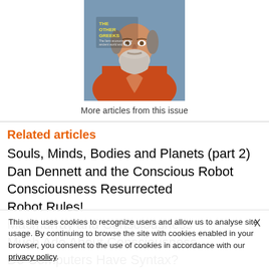[Figure (illustration): Book cover of 'The Other Greeks' showing a painted portrait of a bearded man in orange/red robes against a blue background, with yellow text reading 'THE OTHER Greeks']
More articles from this issue
Related articles
Souls, Minds, Bodies and Planets (part 2)
Dan Dennett and the Conscious Robot
Consciousness Resurrected
Robot Rules!
Macmurray and Consciousness
Much Ado About Consciousness
Do Computers Have Syntax?
This site uses cookies to recognize users and allow us to analyse site usage. By continuing to browse the site with cookies enabled in your browser, you consent to the use of cookies in accordance with our privacy policy.